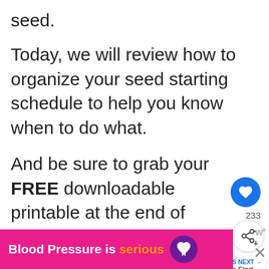seed.
Today, we will review how to organize your seed starting schedule to help you know when to do what.
And be sure to grab your FREE downloadable printable at the end of this post!
(Posts on stacyling.com may contain
[Figure (screenshot): UI overlay with heart/like button (blue circle with heart icon), share count '233', and share button]
[Figure (screenshot): WHAT'S NEXT widget showing thumbnail and text 'How to Start Seeds Indoo...']
[Figure (infographic): Pink ad banner at bottom reading 'Blood Pressure is serious' with orange 'serious' text and purple heart logo, with X close button]